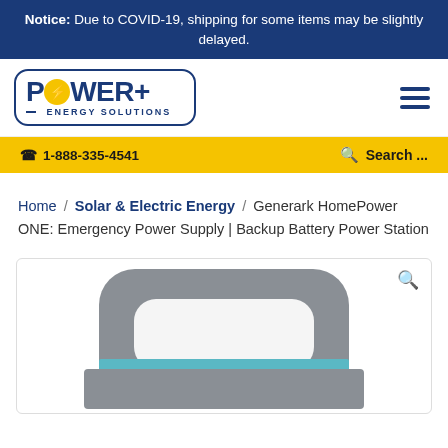Notice: Due to COVID-19, shipping for some items may be slightly delayed.
[Figure (logo): Power+ Energy Solutions logo in a rounded rectangle border with a yellow lightning bolt in the letter O]
1-888-335-4541  Search ...
Home / Solar & Electric Energy / Generark HomePower ONE: Emergency Power Supply | Backup Battery Power Station
[Figure (photo): Generark HomePower ONE portable power station - top portion of a gray device with a carry handle and blue accent panel visible]